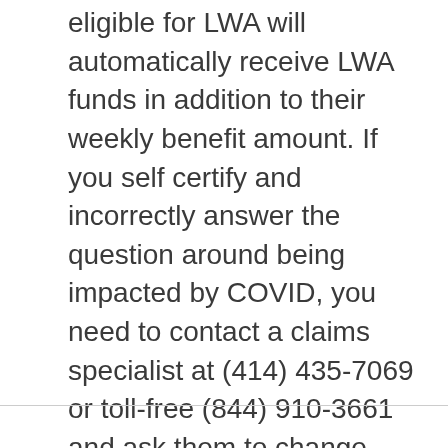eligible for LWA will automatically receive LWA funds in addition to their weekly benefit amount. If you self certify and incorrectly answer the question around being impacted by COVID, you need to contact a claims specialist at (414) 435-7069 or toll-free (844) 910-3661 and ask them to change your answer.